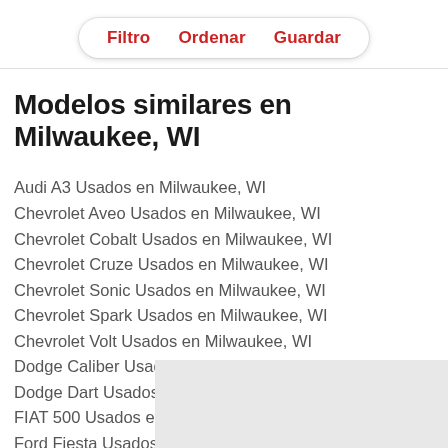Filtro   Ordenar   Guardar
Modelos similares en Milwaukee, WI
Audi A3 Usados en Milwaukee, WI
Chevrolet Aveo Usados en Milwaukee, WI
Chevrolet Cobalt Usados en Milwaukee, WI
Chevrolet Cruze Usados en Milwaukee, WI
Chevrolet Sonic Usados en Milwaukee, WI
Chevrolet Spark Usados en Milwaukee, WI
Chevrolet Volt Usados en Milwaukee, WI
Dodge Caliber Usados en Milwaukee, WI
Dodge Dart Usados en Milwaukee, WI
FIAT 500 Usados en Milwaukee, WI
Ford Fiesta Usados en Milwaukee, WI
Ford Focus Usados en Milwaukee, WI
Honda Civic Usados en Milwaukee, WI